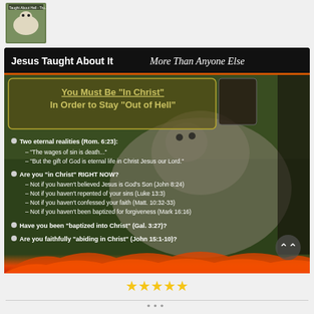[Figure (photo): Small thumbnail of the main image — sheep with text overlay]
[Figure (infographic): Religious infographic with dark background showing a sheep in a field with flames at bottom. Title: 'Jesus Taught About It More Than Anyone Else'. Contains a yellow box: 'You Must Be In Christ In Order to Stay Out of Hell'. Bullet points listing Bible verses about being in Christ. Stars rating at bottom.]
★★★★★